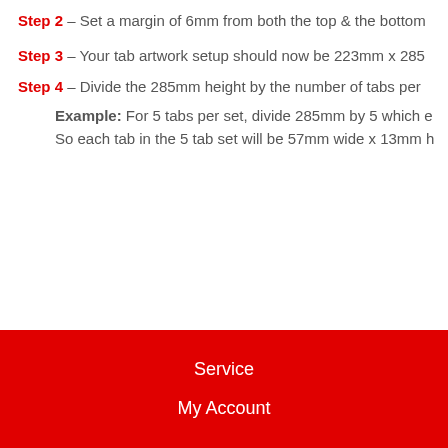Step 2 – Set a margin of 6mm from both the top & the bottom
Step 3 – Your tab artwork setup should now be 223mm x 285
Step 4 – Divide the 285mm height by the number of tabs per
Example: For 5 tabs per set, divide 285mm by 5 which e
So each tab in the 5 tab set will be 57mm wide x 13mm h
Service
My Account